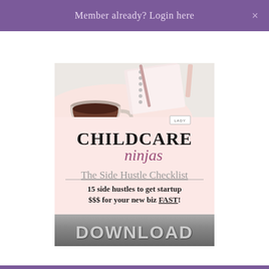Member already? Login here  ×
[Figure (illustration): Advertisement graphic for 'Lady Childcare Ninjas - The Side Hustle Checklist'. Shows a flat-lay photo of a coffee cup, notebook, and pen at the top. Pink background with bold text: CHILDCARE ninjas, The Side Hustle Checklist, 15 side hustles to get startup $$$ for your new biz FAST! A dark metallic Download button at the bottom.]